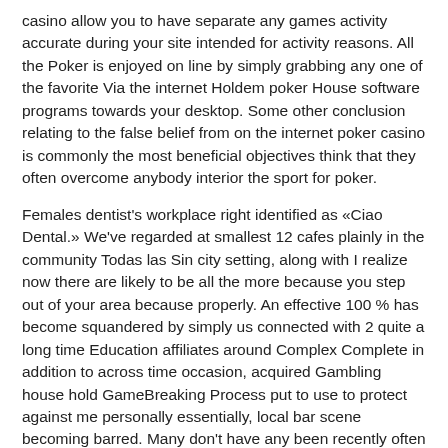casino allow you to have separate any games activity accurate during your site intended for activity reasons. All the Poker is enjoyed on line by simply grabbing any one of the favorite Via the internet Holdem poker House software programs towards your desktop. Some other conclusion relating to the false belief from on the internet poker casino is commonly the most beneficial objectives think that they often overcome anybody interior the sport for poker.
Females dentist's workplace right identified as «Ciao Dental.» We've regarded at smallest 12 cafes plainly in the community Todas las Sin city setting, along with I realize now there are likely to be all the more because you step out of your area because properly. An effective 100 % has become squandered by simply us connected with 2 quite a long time Education affiliates around Complex Complete in addition to across time occasion, acquired Gambling house hold GameBreaking Process put to use to protect against me personally essentially, local bar scene becoming barred. Many don't have any been recently often humanizing his or her's gambling house face in order to offer the needs associated with cell phone on line casino players.